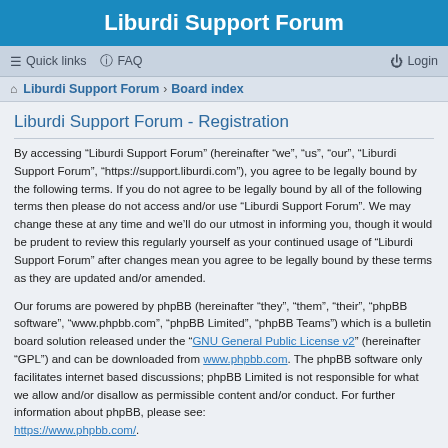Liburdi Support Forum
Quick links  FAQ  Login
Liburdi Support Forum › Board index
Liburdi Support Forum - Registration
By accessing “Liburdi Support Forum” (hereinafter “we”, “us”, “our”, “Liburdi Support Forum”, “https://support.liburdi.com”), you agree to be legally bound by the following terms. If you do not agree to be legally bound by all of the following terms then please do not access and/or use “Liburdi Support Forum”. We may change these at any time and we’ll do our utmost in informing you, though it would be prudent to review this regularly yourself as your continued usage of “Liburdi Support Forum” after changes mean you agree to be legally bound by these terms as they are updated and/or amended.
Our forums are powered by phpBB (hereinafter “they”, “them”, “their”, “phpBB software”, “www.phpbb.com”, “phpBB Limited”, “phpBB Teams”) which is a bulletin board solution released under the “GNU General Public License v2” (hereinafter “GPL”) and can be downloaded from www.phpbb.com. The phpBB software only facilitates internet based discussions; phpBB Limited is not responsible for what we allow and/or disallow as permissible content and/or conduct. For further information about phpBB, please see: https://www.phpbb.com/.